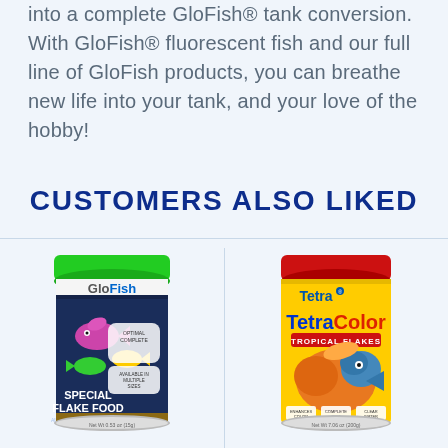into a complete GloFish® tank conversion. With GloFish® fluorescent fish and our full line of GloFish products, you can breathe new life into your tank, and your love of the hobby!
CUSTOMERS ALSO LIKED
[Figure (photo): GloFish Special Flake Food container with green lid and dark blue label showing colorful fish]
[Figure (photo): TetraColor Tropical Flakes container with red lid and yellow label showing tropical fish]